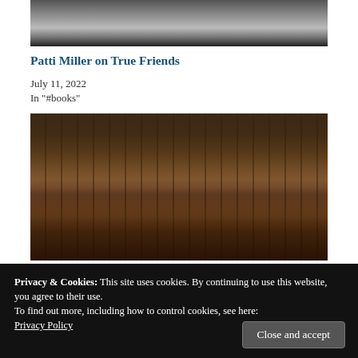[Figure (photo): Bottom portion of a person wearing a black blazer and white shirt, cropped at the shoulders, against a neutral background.]
Patti Miller on True Friends
July 11, 2022
In "#books"
[Figure (photo): Close-up photograph of old leather-bound books arranged on a shelf, showing their spines with decorative gold and embossed designs in dark brown, red, and black tones.]
Privacy & Cookies: This site uses cookies. By continuing to use this website, you agree to their use.
To find out more, including how to control cookies, see here: Privacy Policy
Close and accept